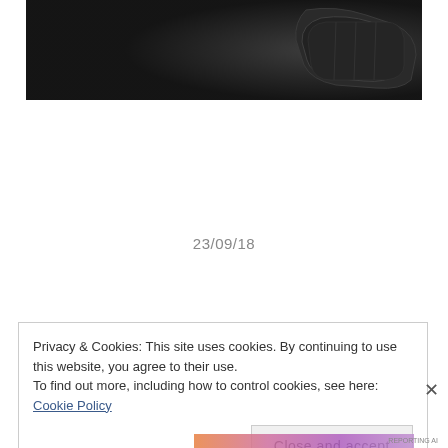[Figure (photo): Black and white photograph of a dark leather wallet or accordion-fold item against a dark background]
23/09/18
Privacy & Cookies: This site uses cookies. By continuing to use this website, you agree to their use.
To find out more, including how to control cookies, see here: Cookie Policy
Close and accept